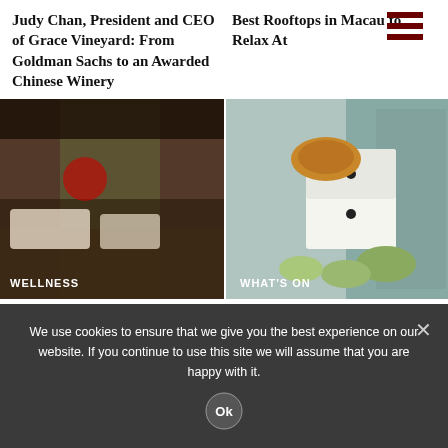Judy Chan, President and CEO of Grace Vineyard: From Goldman Sachs to an Awarded Chinese Winery
Best Rooftops in Macau to Relax At
[Figure (photo): Luxury spa interior with warm wood tones, lounging area and greenery. Label: WELLNESS]
[Figure (photo): Mooncakes in a white box with decorative Asian cabinet backdrop. Label: WHAT'S ON]
Macau's Best Spas
Best Mooncakes in Macau for Mid-Autumn Festival
We use cookies to ensure that we give you the best experience on our website. If you continue to use this site we will assume that you are happy with it.